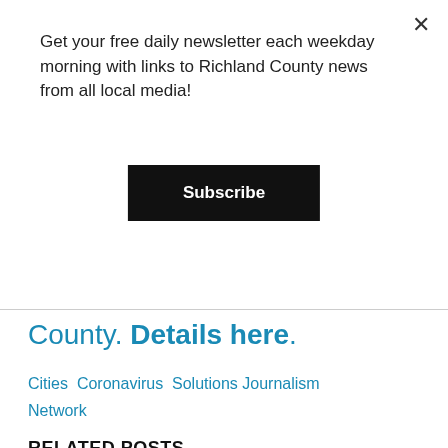Get your free daily newsletter each weekday morning with links to Richland County news from all local media!
Subscribe
County. Details here.
Cities  Coronavirus  Solutions Journalism Network
RELATED POSTS
[Figure (photo): Rows of red banquet chairs with gold trim in a conference or event hall]